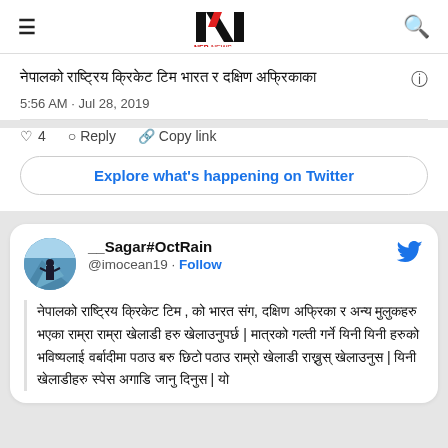NepNews header navigation
नेपालको राष्ट्रिय क्रिकेट टिम भारत र दक्षिण अफ्रिका
5:56 AM · Jul 28, 2019
4  Reply  Copy link
Explore what's happening on Twitter
__Sagar#OctRain @imocean19 · Follow
नेपालको राष्ट्रिय क्रिकेट टिम , को भारत संग, दक्षिण अफ्रिका र अन्य मुलुकहरु भएका राम्रा राम्रा खेलाडी हरु खेलाउनुपर्छ | मात्रको गल्ती गर्ने यिनी यिनी हरुको भविष्यलाई वर्बादीमा पठाउ बरु छिटो पठाउ राम्रो खेलाडी राख्नुस् खेलाउनुस | यिनी खेलाडीहरु स्पेस अगाडि जानु दिनुस | यो